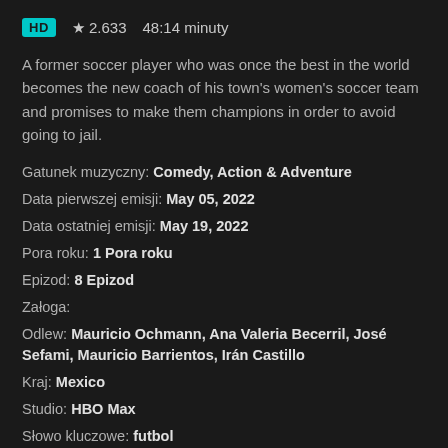HD ★ 2.633   48:14 minuty
A former soccer player who was once the best in the world becomes the new coach of his town's women's soccer team and promises to make them champions in order to avoid going to jail.
Gatunek muzyczny: Comedy, Action & Adventure
Data pierwszej emisji: May 05, 2022
Data ostatniej emisji: May 19, 2022
Pora roku: 1 Pora roku
Epizod: 8 Epizod
Załoga:
Odlew: Mauricio Ochmann, Ana Valeria Becerril, José Sefami, Mauricio Barrientos, Irán Castillo
Kraj: Mexico
Studio: HBO Max
Słowo kluczowe: futbol
Subtitle: [UK flag] [France flag] [Germany flag] [Spain flag] [Netherlands flag] [South Korea flag] [Japan flag] ETC.